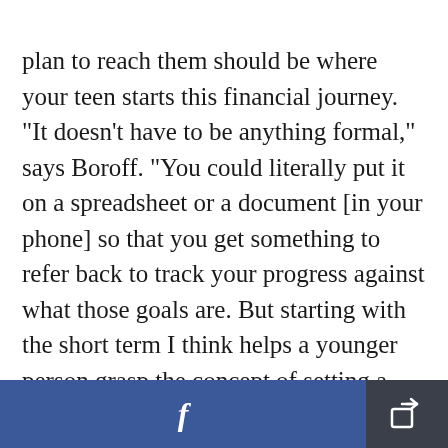plan to reach them should be where your teen starts this financial journey. "It doesn't have to be anything formal," says Boroff. "You could literally put it on a spreadsheet or a document [in your phone] so that you get something to refer back to track your progress against what those goals are. But starting with the short term I think helps a younger person grasp the concept of setting a goal, saving and investing to reach that goal, and then seeing some success and saying, 'Hey, that worked.'"
[Figure (other): Facebook share button (blue) and a share/export icon button (dark grey) in a footer bar at the bottom of the page.]